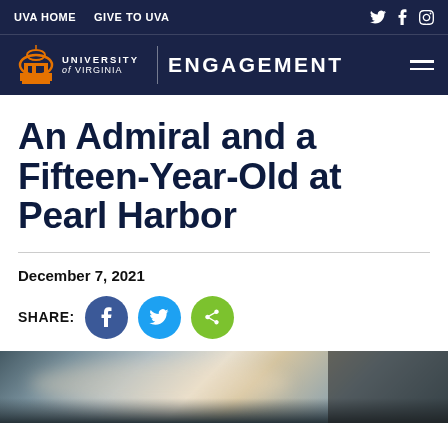UVA HOME   GIVE TO UVA
[Figure (logo): University of Virginia logo with Rotunda icon and ENGAGEMENT text navigation bar]
An Admiral and a Fifteen-Year-Old at Pearl Harbor
December 7, 2021
[Figure (infographic): Social share buttons: Facebook (blue circle), Twitter (light blue circle), Share (green circle)]
[Figure (photo): Partial photo of a person's hands at a desk with a keyboard, partially visible at the bottom of the page]